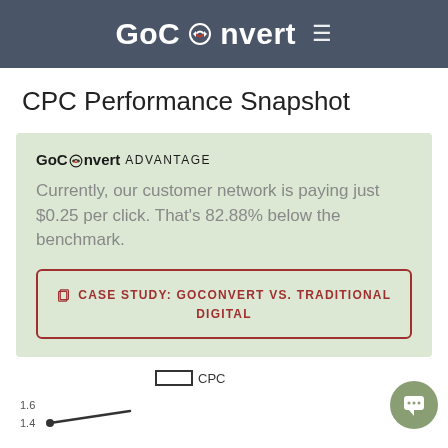GoConvert ≡
CPC Performance Snapshot
GoConvert ADVANTAGE
Currently, our customer network is paying just $0.25 per click. That's 82.88% below the benchmark.
CASE STUDY: GOCONVERT VS. TRADITIONAL DIGITAL
[Figure (line-chart): Partial line chart showing CPC values, y-axis visible with 1.6 and 1.4 labels, with a descending line starting around 1.4]